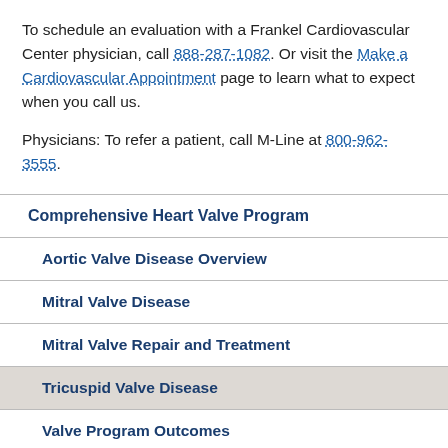To schedule an evaluation with a Frankel Cardiovascular Center physician, call 888-287-1082. Or visit the Make a Cardiovascular Appointment page to learn what to expect when you call us.

Physicians: To refer a patient, call M-Line at 800-962-3555.
Comprehensive Heart Valve Program
Aortic Valve Disease Overview
Mitral Valve Disease
Mitral Valve Repair and Treatment
Tricuspid Valve Disease
Valve Program Outcomes